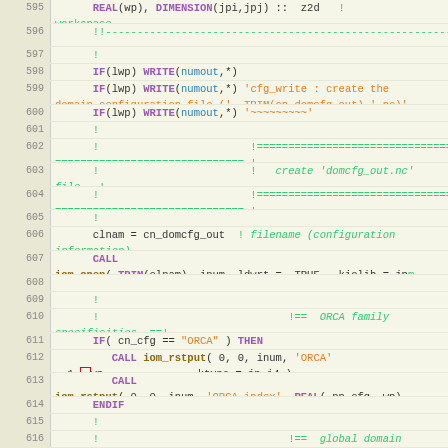[Figure (screenshot): Fortran source code editor view showing lines 595-616, with syntax highlighting. Line numbers in left gutter, code in monospace font with keywords in purple, comments in green, strings in orange, variables in blue.]